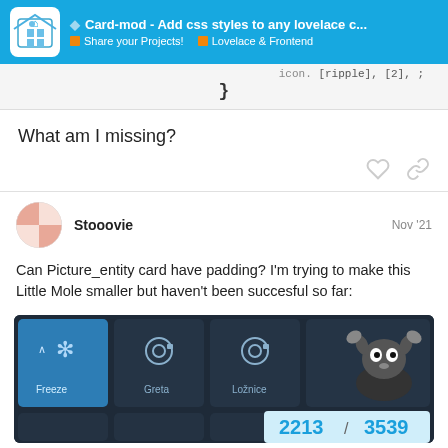Card-mod - Add css styles to any lovelace c... | Share your Projects! | Lovelace & Frontend
}
What am I missing?
Stooovie  Nov '21
Can Picture_entity card have padding? I'm trying to make this Little Mole smaller but haven't been succesful so far:
[Figure (screenshot): Screenshot of a Home Assistant Lovelace dashboard showing Freeze, Greta, and Ložnice cards with icons, and a cartoon mole character. Counter shows 2213 / 3539.]